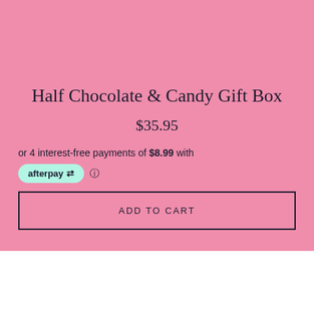Half Chocolate & Candy Gift Box
$35.95
or 4 interest-free payments of $8.99 with
[Figure (logo): Afterpay logo badge in mint green with arrow icon]
ADD TO CART